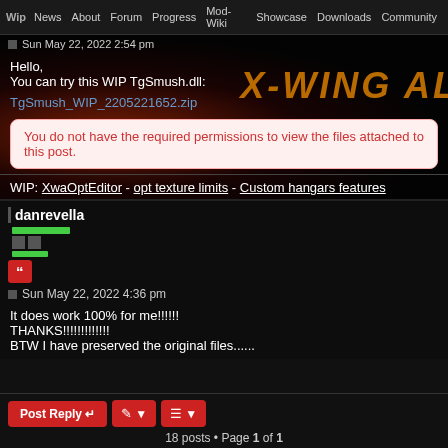WIP | News | About | Forum | Progress | Mod-Wiki | Showcase | Downloads | Community
Sun May 22, 2022 2:54 pm
Hello,
You can try this WIP TgSmush.dll:
TgSmush_WIP_2205221652.zip
You do not have the required permissions to view the files attached to this post.
WIP: XwaOptEditor - opt texture limits - Custom hangars features
danrevella
Sun May 22, 2022 4:36 pm
It does work 100% for me!!!!!!
THANKS!!!!!!!!!!!!!
BTW I have preserved the original files......
18 posts • Page 1 of 1